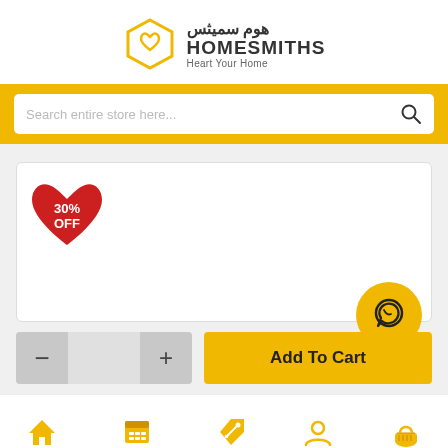[Figure (logo): Homesmiths logo with hexagon icon and Arabic/English text 'هوم سميثس HOMESMITHS Heart Your Home']
[Figure (screenshot): Search bar with placeholder text 'Search entire store here...' and search icon, on yellow background]
[Figure (screenshot): Product card with red heart-shaped badge showing '30% OFF']
[Figure (screenshot): Quantity selector with minus and plus buttons and Add To Cart button in yellow]
[Figure (screenshot): WhatsApp chat bubble icon in yellow circle]
[Figure (screenshot): Bottom navigation bar with Home, Categories, SALE, Account, Basket icons]